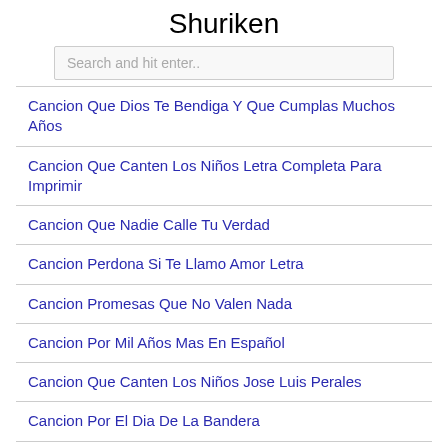Shuriken
Search and hit enter..
Cancion Que Dios Te Bendiga Y Que Cumplas Muchos Años
Cancion Que Canten Los Niños Letra Completa Para Imprimir
Cancion Que Nadie Calle Tu Verdad
Cancion Perdona Si Te Llamo Amor Letra
Cancion Promesas Que No Valen Nada
Cancion Por Mil Años Mas En Español
Cancion Que Canten Los Niños Jose Luis Perales
Cancion Por El Dia De La Bandera